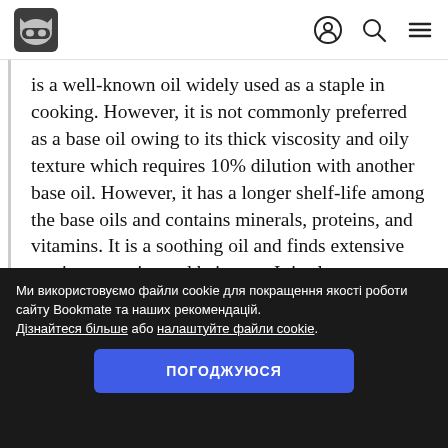Bookmate header with logo and navigation icons
is a well-known oil widely used as a staple in cooking. However, it is not commonly preferred as a base oil owing to its thick viscosity and oily texture which requires 10% dilution with another base oil. However, it has a longer shelf-life among the base oils and contains minerals, proteins, and vitamins. It is a soothing oil and finds extensive use in cosmetics and hair care. It is also
Ми використовуємо файли cookie для покращення якості роботи сайту Bookmate та наших рекомендацій. Дізнайтеся більше або налаштуйте файли cookie.
ПОГОДЖУЮСЯ